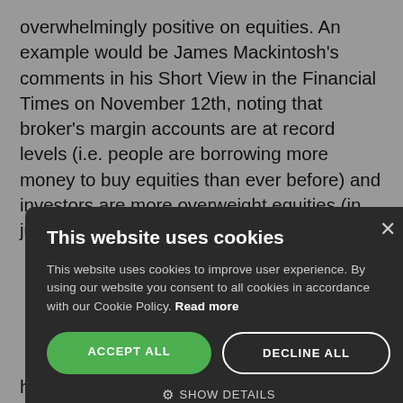overwhelmingly positive on equities. An example would be James Mackintosh's comments in his Short View in the Financial Times on November 12th, noting that broker's margin accounts are at record levels (i.e. people are borrowing more money to buy equities than ever before) and investors are more overweight equities (in just
…oint in the …t they are …as forced …ed long …r. …alue …erquartile …en upper …PE ratios)
[Figure (screenshot): Cookie consent modal dialog with dark background. Title: 'This website uses cookies'. Body text: 'This website uses cookies to improve user experience. By using our website you consent to all cookies in accordance with our Cookie Policy. Read more'. Two buttons: 'ACCEPT ALL' (green) and 'DECLINE ALL' (outlined). Below: gear icon with 'SHOW DETAILS'. Close X button in top right corner.]
has compressed, meaning that relatively